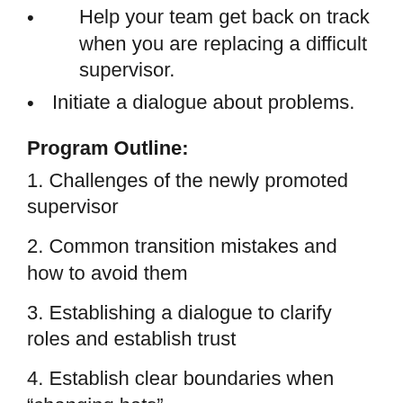Help your team get back on track when you are replacing a difficult supervisor.
Initiate a dialogue about problems.
Program Outline:
1. Challenges of the newly promoted supervisor
2. Common transition mistakes and how to avoid them
3. Establishing a dialogue to clarify roles and establish trust
4. Establish clear boundaries when “changing hats”
5. Common transition difficulties and how to deal with them